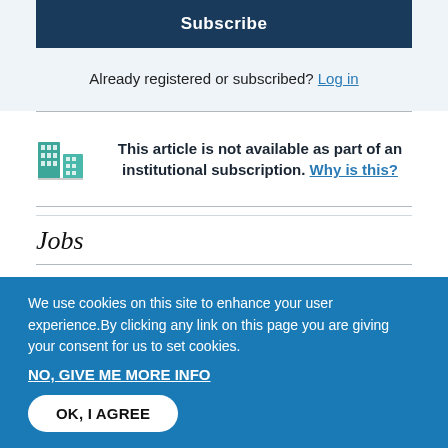Subscribe
Already registered or subscribed? Log in
This article is not available as part of an institutional subscription. Why is this?
Jobs
We use cookies on this site to enhance your user experience. By clicking any link on this page you are giving your consent for us to set cookies.
NO, GIVE ME MORE INFO
OK, I AGREE